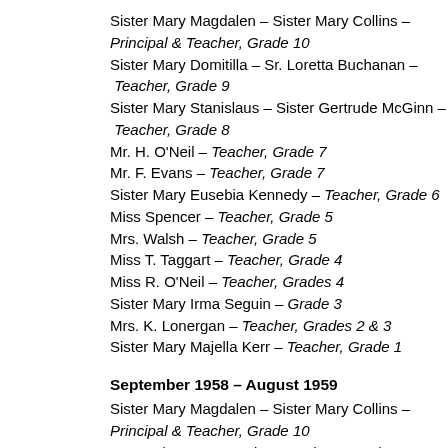Sister Mary Magdalen – Sister Mary Collins – Principal & Teacher, Grade 10
Sister Mary Domitilla – Sr. Loretta Buchanan – Teacher, Grade 9
Sister Mary Stanislaus – Sister Gertrude McGinn – Teacher, Grade 8
Mr. H. O'Neil – Teacher, Grade 7
Mr. F. Evans – Teacher, Grade 7
Sister Mary Eusebia Kennedy – Teacher, Grade 6
Miss Spencer – Teacher, Grade 5
Mrs. Walsh – Teacher, Grade 5
Miss T. Taggart – Teacher, Grade 4
Miss R. O'Neil – Teacher, Grades 4
Sister Mary Irma Seguin – Grade 3
Mrs. K. Lonergan – Teacher, Grades 2 & 3
Sister Mary Majella Kerr – Teacher, Grade 1
September 1958 – August 1959
Sister Mary Magdalen – Sister Mary Collins – Principal & Teacher, Grade 10
Mrs. Robertso – Teacher, Grade 10 conti...